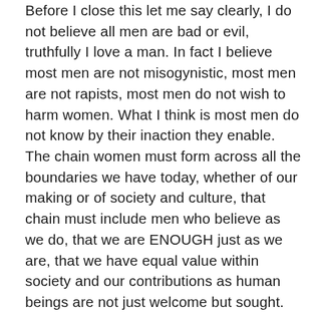Before I close this let me say clearly, I do not believe all men are bad or evil, truthfully I love a man. In fact I believe most men are not misogynistic, most men are not rapists, most men do not wish to harm women. What I think is most men do not know by their inaction they enable. The chain women must form across all the boundaries we have today, whether of our making or of society and culture, that chain must include men who believe as we do, that we are ENOUGH just as we are, that we have equal value within society and our contributions as human beings are not just welcome but sought. Were all of us, men and women together to begin to form common cause, the subject of our equality would no longer be subject of debates it would instead be a History Lesson, as would many other Civil Rights issues which frankly require a woman's voice and a woman's touch.